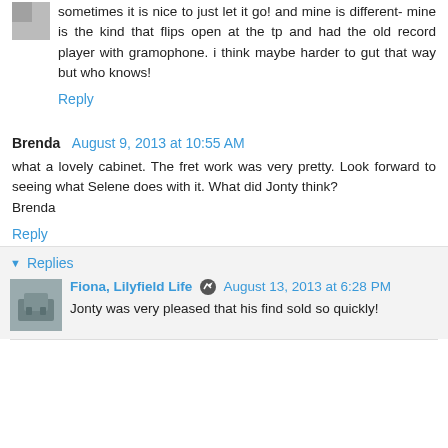sometimes it is nice to just let it go! and mine is different- mine is the kind that flips open at the tp and had the old record player with gramophone. i think maybe harder to gut that way but who knows!
Reply
Brenda  August 9, 2013 at 10:55 AM
what a lovely cabinet. The fret work was very pretty. Look forward to seeing what Selene does with it. What did Jonty think?
Brenda
Reply
Replies
Fiona, Lilyfield Life  August 13, 2013 at 6:28 PM
Jonty was very pleased that his find sold so quickly!